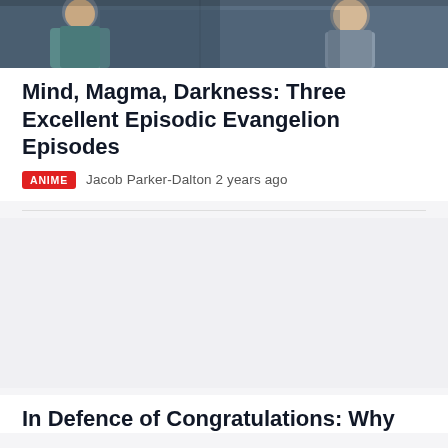[Figure (illustration): Anime screenshot showing two characters from Neon Genesis Evangelion in a stylized scene with teal/dark blue color palette]
Mind, Magma, Darkness: Three Excellent Episodic Evangelion Episodes
ANIME   Jacob Parker-Dalton 2 years ago
[Figure (other): Advertisement placeholder area with light gray background]
In Defence of Congratulations: Why Evangelion Never Needed the Ending